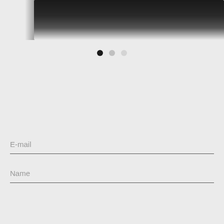[Figure (photo): Blurred dark image at top of page, showing a dark screen or device against a light gray background]
[Figure (infographic): Three pagination dots: one filled black (active), one medium gray, one light gray]
E-mail
Name